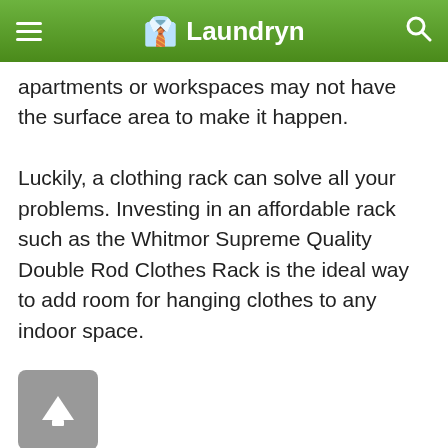Laundryn
apartments or workspaces may not have the surface area to make it happen.
Luckily, a clothing rack can solve all your problems. Investing in an affordable rack such as the Whitmor Supreme Quality Double Rod Clothes Rack is the ideal way to add room for hanging clothes to any indoor space.
| brand |  |
| --- | --- |
| brand | Whitmor |
| type | Double rod |
| material | Steel (epoxy-coated) |